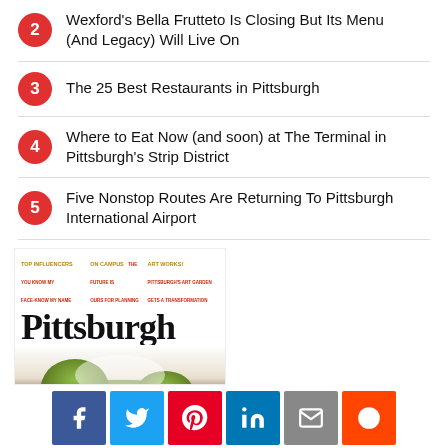2 Wexford's Bella Frutteto Is Closing But Its Menu (And Legacy) Will Live On
3 The 25 Best Restaurants in Pittsburgh
4 Where to Eat Now (and soon) at The Terminal in Pittsburgh's Strip District
5 Five Nonstop Routes Are Returning To Pittsburgh International Airport
[Figure (photo): Pittsburgh magazine cover with large masthead text 'Pittsburgh' and a grass-covered letter P sculpture on white background, with top bar showing TOP INFLUENCERS, ON CAMPUS, ART WORKS sections]
[Figure (infographic): Social media sharing buttons: Facebook, Twitter, Pinterest, LinkedIn, Email, Reddit]